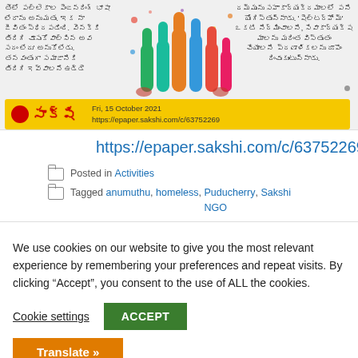[Figure (screenshot): Screenshot of a Telugu newspaper article with colorful raised hands illustration in center, Sakshi newspaper branding bar at bottom with date Fri, 15 October 2021 and URL https://epaper.sakshi.com/c/63752269]
https://epaper.sakshi.com/c/63752269
Posted in Activities
Tagged anumuthu, homeless, Puducherry NGO, Sakshi Telugu, snehan, Snehan Home, Snehan NGO
We use cookies on our website to give you the most relevant experience by remembering your preferences and repeat visits. By clicking “Accept”, you consent to the use of ALL the cookies.
Cookie settings
ACCEPT
Translate »